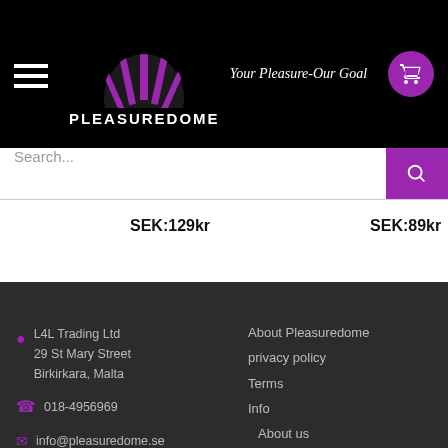PLEASUREDOME — Your Pleasure-Our Goal
Search...
SEK:129kr   SEK:89kr
L4L Trading Ltd
29 St Mary Street
Birkirkara, Malta
018-4956969
info@pleasuredome.se
About Pleasuredome
privacy policy
Terms
Info
About us
Brands